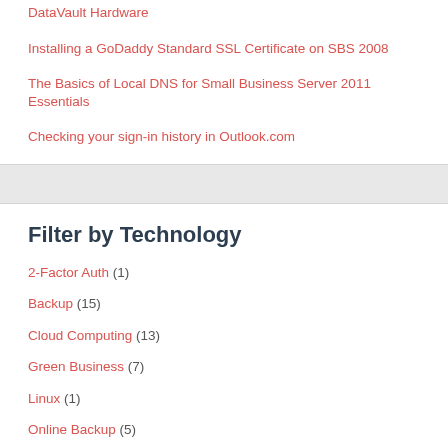DataVault Hardware
Installing a GoDaddy Standard SSL Certificate on SBS 2008
The Basics of Local DNS for Small Business Server 2011 Essentials
Checking your sign-in history in Outlook.com
Filter by Technology
2-Factor Auth (1)
Backup (15)
Cloud Computing (13)
Green Business (7)
Linux (1)
Online Backup (5)
Personal Cloud (4)